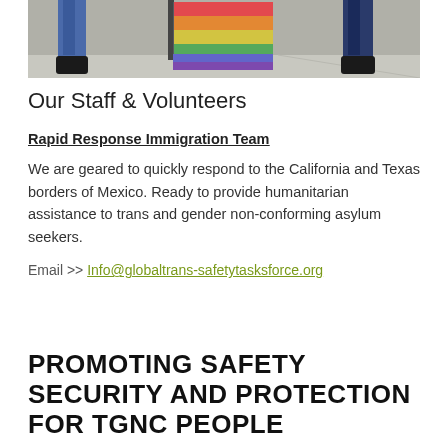[Figure (photo): Two people in blue clothing holding/standing next to a rainbow pride flag, photographed from the waist down showing boots on a concrete surface]
Our Staff & Volunteers
Rapid Response Immigration Team
We are geared to quickly respond to the California and Texas borders of Mexico. Ready to provide humanitarian assistance to trans and gender non-conforming asylum seekers.
Email >> Info@globaltrans-safetytasksforce.org
PROMOTING SAFETY SECURITY AND PROTECTION FOR TGNC PEOPLE